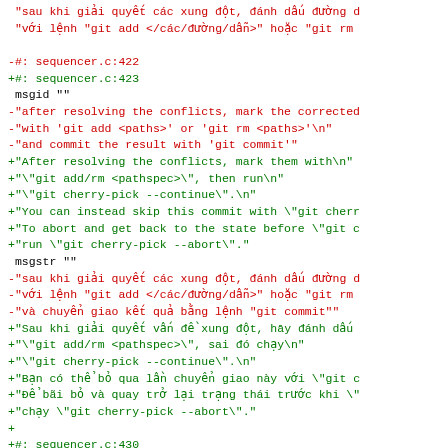Diff output showing changes to git localization strings in Vietnamese and English, including sequencer.c line references and msgid/msgstr entries.